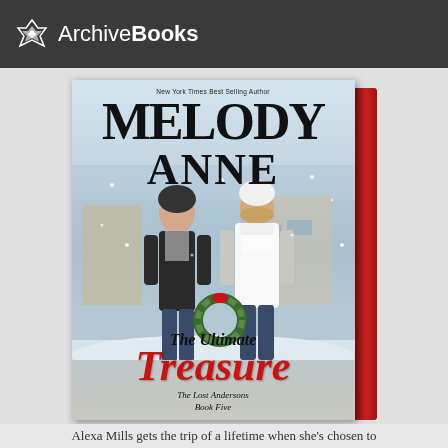ArchiveBooks
[Figure (photo): 3D rendered book cover for 'The Ultimate Treasure' by Melody Anne. The Lost Andersons Book Five. Cover shows a couple walking in snow carrying a Christmas wreath, with a red spine visible on the right side of the 3D book.]
Alexa Mills gets the trip of a lifetime when she's chosen to